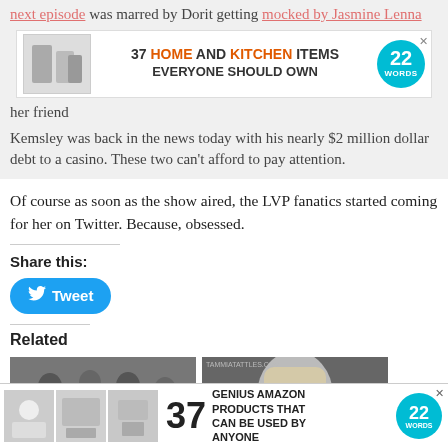next episode was marred by Dorit getting mocked by Jasmine Lenna [AD: 37 HOME AND KITCHEN ITEMS EVERYONE SHOULD OWN] her friend Kemsley was back in the news today with his nearly $2 million dollar debt to a casino. These two can't afford to pay attention.
[Figure (infographic): Advertisement banner: 37 HOME AND KITCHEN ITEMS EVERYONE SHOULD OWN, with 22 Words badge]
Of course as soon as the show aired, the LVP fanatics started coming for her on Twitter. Because, obsessed.
Share this:
[Figure (infographic): Tweet button in blue with Twitter bird icon]
Related
[Figure (photo): Related article image left: group of women in dark clothes]
[Figure (photo): Related article image right: blonde woman with CLOSE badge, tammiatattles.com label]
[Figure (infographic): Bottom advertisement: 37 GENIUS AMAZON PRODUCTS THAT CAN BE USED BY ANYONE, with product images and 22 Words badge]